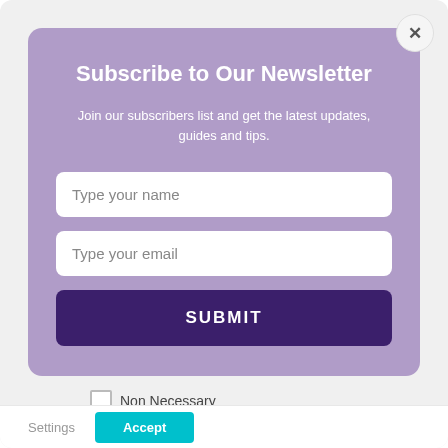Subscribe to Our Newsletter
Join our subscribers list and get the latest updates, guides and tips.
Type your name
Type your email
SUBMIT
Non Necessary
Settings
Accept